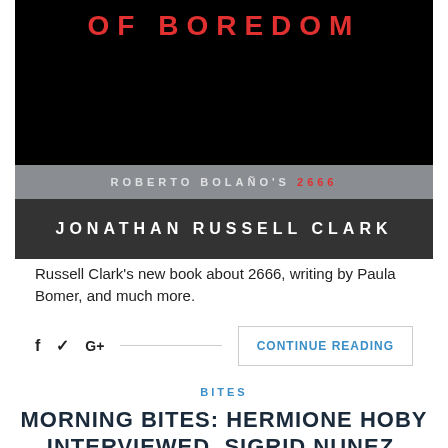[Figure (illustration): Book cover image showing 'OF BOREDOM' in red text on black background, with a gray band reading 'ROBERTO BOLAÑO'S 2666' and a dark band reading 'JONATHAN RUSSELL CLARK']
In our morning reading: an excerpt from Jonathan Russell Clark's new book about 2666, writing by Paula Bomer, and much more.
f  ❧  G+  ──────────────────────────────  CONTINUE READING
BITES
MORNING BITES: HERMIONE HOBY INTERVIEWED, SIGRID NUNEZ, "2666"